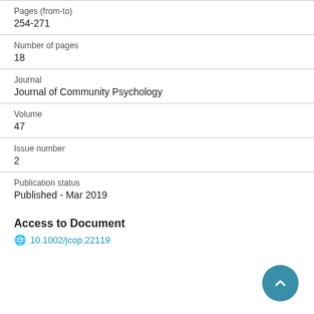Pages (from-to)
254-271
Number of pages
18
Journal
Journal of Community Psychology
Volume
47
Issue number
2
Publication status
Published - Mar 2019
Access to Document
10.1002/jcop.22119